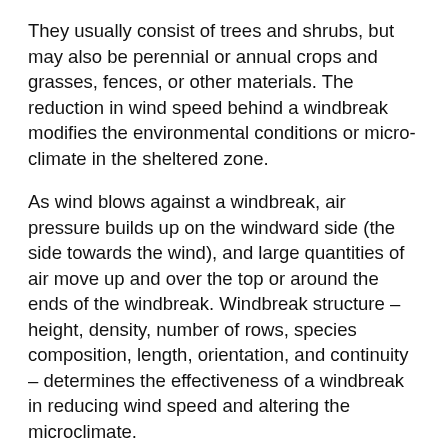They usually consist of trees and shrubs, but may also be perennial or annual crops and grasses, fences, or other materials. The reduction in wind speed behind a windbreak modifies the environmental conditions or micro-climate in the sheltered zone.
As wind blows against a windbreak, air pressure builds up on the windward side (the side towards the wind), and large quantities of air move up and over the top or around the ends of the windbreak. Windbreak structure – height, density, number of rows, species composition, length, orientation, and continuity – determines the effectiveness of a windbreak in reducing wind speed and altering the microclimate.
EFFECT OF HEIGHT
Windbreak height (H) is the most important factor determining the downwind area protected by a windbreak. This value varies from windbreak to windbreak, and increases as the windbreak matures. In multiple row…